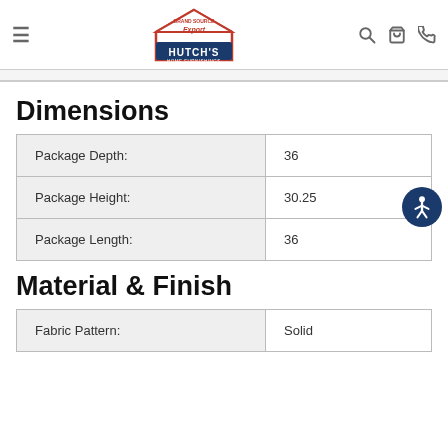Hutch's Home Furnishings — Brand Source Export
Dimensions
|  |  |
| --- | --- |
| Package Depth: | 36 |
| Package Height: | 30.25 |
| Package Length: | 36 |
Material & Finish
|  |  |
| --- | --- |
| Fabric Pattern: | Solid |